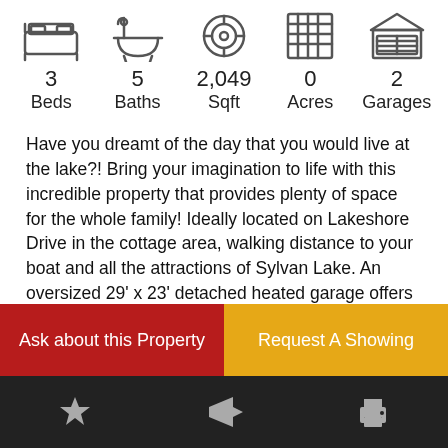[Figure (infographic): Row of 5 property feature icons: bed, bathtub, tape measure, land/acreage, garage]
3 Beds   5 Baths   2,049 Sqft   0 Acres   2 Garages
Have you dreamt of the day that you would live at the lake?! Bring your imagination to life with this incredible property that provides plenty of space for the whole family! Ideally located on Lakeshore Drive in the cottage area, walking distance to your boat and all the attractions of Sylvan Lake. An oversized 29' x 23' detached heated garage offers oodles of space to keep your cars and toys cozy. Greet your guest thru the front french doors into
Ask about this Property
Request A Showing